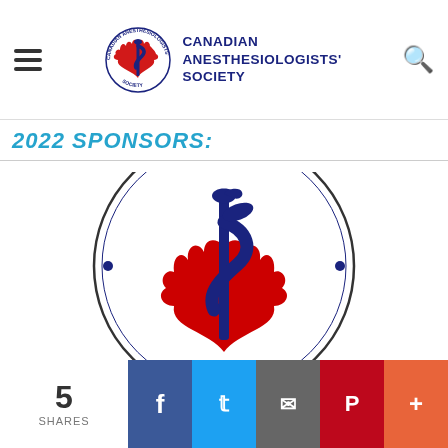Canadian Anesthesiologists' Society
2022 SPONSORS:
[Figure (logo): Canadian Anesthesiologists' Society circular logo featuring a red maple leaf with a blue Rod of Asclepius (medical staff with snake) in the center, surrounded by text 'CANADIAN ANESTHESIOLOGISTS' SOCIETY' in blue letters around the circular border]
5 SHARES